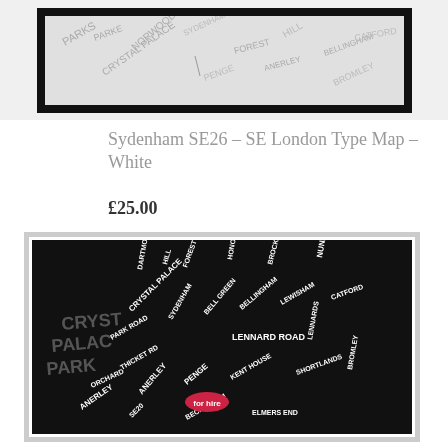[Figure (photo): Framed typographic map of SE London (white/light version) showing street and area names arranged to form a map shape, with thick black frame]
Sydenham SE26 – SE London Type Map – White
£25.00
[Figure (photo): Framed typographic map of SE London (black version) with white lettering on black background, showing Crystal Palace Park and surrounding areas. A small red oval label reading 'for hire' is visible near the center-bottom of the map. White thin frame around the print.]